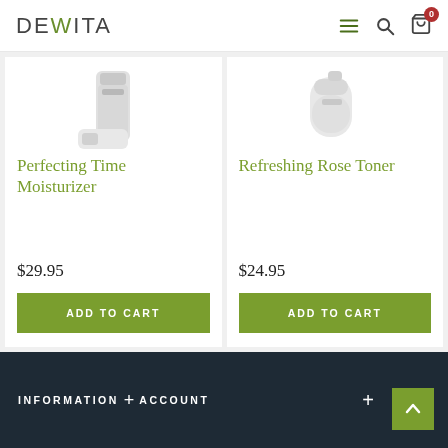DEVITA
Perfecting Time Moisturizer
$29.95
ADD TO CART
Refreshing Rose Toner
$24.95
ADD TO CART
You have reached the end of the list.
INFORMATION + ACCOUNT +